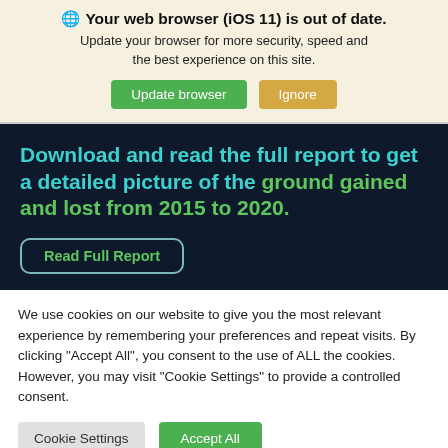🌐 Your web browser (iOS 11) is out of date. Update your browser for more security, speed and the best experience on this site.
Update browser | Ignore
Download and read the full report to get a detailed picture of the ground gained and lost from 2015 to 2020.
Read Full Report
We use cookies on our website to give you the most relevant experience by remembering your preferences and repeat visits. By clicking "Accept All", you consent to the use of ALL the cookies. However, you may visit "Cookie Settings" to provide a controlled consent.
Cookie Settings | Accept All